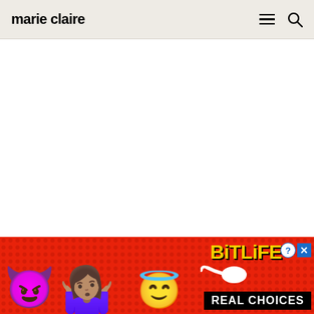marie claire
Video you may like:
[Figure (screenshot): Advertisement banner for BitLife game showing devil emoji, person shrugging emoji, angel emoji, sperm graphic, BitLife logo in yellow, and 'REAL CHOICES' text on red dotted background]